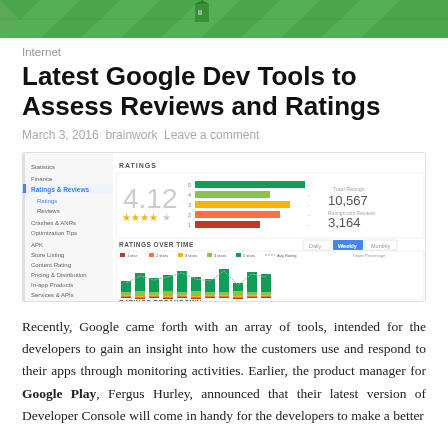[Figure (screenshot): Decorative header image with green/teal geometric pattern]
Internet
Latest Google Dev Tools to Assess Reviews and Ratings
March 3, 2016 brainwork Leave a comment
[Figure (screenshot): Google Play Developer Console screenshot showing Ratings & Reviews section with a rating of 4.12, 10,567 total ratings, 3,164 ratings with reviews, a stacked bar chart of ratings over time, and a ratings breakdown panel.]
Recently, Google came forth with an array of tools, intended for the developers to gain an insight into how the customers use and respond to their apps through monitoring activities. Earlier, the product manager for Google Play, Fergus Hurley, announced that their latest version of Developer Console will come in handy for the developers to make a better